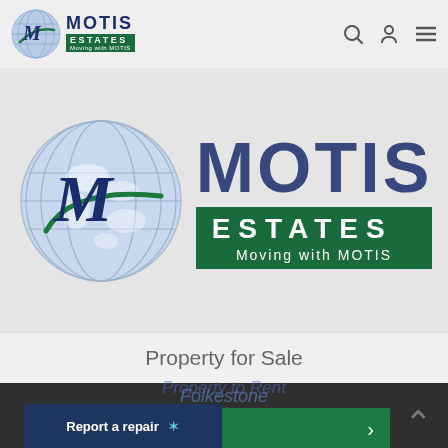[Figure (logo): Motis Estates logo - small version in navbar with globe icon, MOTIS text in dark blue, ESTATES in green bar, Moving with MOTIS tagline]
[Figure (logo): Motis Estates large hero logo - globe with M letter, MOTIS in dark blue large text, ESTATES in green banner, Moving with MOTIS tagline]
Property for Sale
Folkestone
OK
Sandgate
Hawkinge
This website uses cookies to ensure you get the best experience on our website More info
Property to Rent
Report a repair
Folkestone